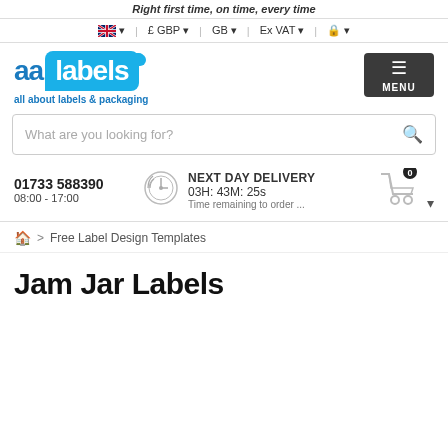Right first time, on time, every time
🇬🇧 ▾ | £ GBP ▾ | GB ▾ | Ex VAT ▾ | 🔒 ▾
[Figure (logo): aa labels logo - blue text 'aa' with 'labels' in white on cyan rounded rectangle, tagline 'all about labels & packaging']
[Figure (other): Dark grey hamburger menu button with MENU label]
What are you looking for?
01733 588390
08:00 - 17:00
[Figure (other): Clock/delivery icon circle]
NEXT DAY DELIVERY
03H: 43M: 25s
Time remaining to order ...
[Figure (other): Shopping cart icon with badge showing 0]
🏠 > Free Label Design Templates
Jam Jar Labels